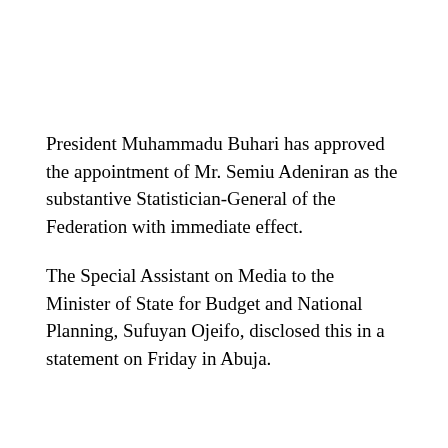President Muhammadu Buhari has approved the appointment of Mr. Semiu Adeniran as the substantive Statistician-General of the Federation with immediate effect.
The Special Assistant on Media to the Minister of State for Budget and National Planning, Sufuyan Ojeifo, disclosed this in a statement on Friday in Abuja.